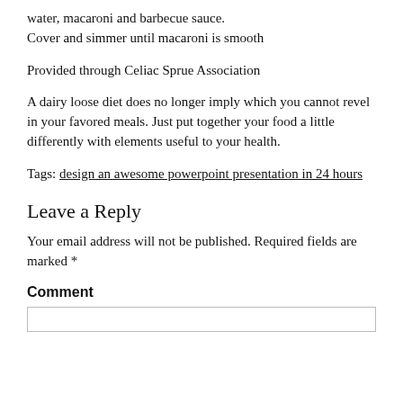water, macaroni and barbecue sauce.
Cover and simmer until macaroni is smooth
Provided through Celiac Sprue Association
A dairy loose diet does no longer imply which you cannot revel in your favored meals. Just put together your food a little differently with elements useful to your health.
Tags: design an awesome powerpoint presentation in 24 hours
Leave a Reply
Your email address will not be published. Required fields are marked *
Comment